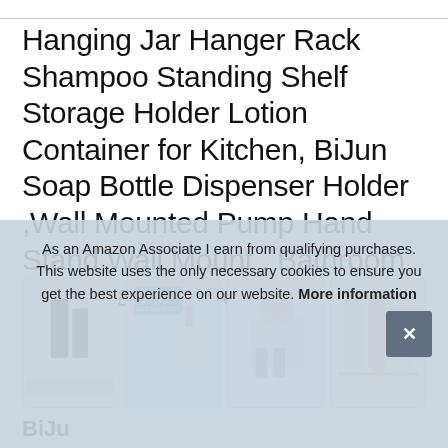Hanging Jar Hanger Rack Shampoo Standing Shelf Storage Holder Lotion Container for Kitchen, BiJun Soap Bottle Dispenser Holder ,Wall Mounted Pump Hand Stand Wall Mount , Bathroom Black, large hole
[Figure (photo): Four thumbnail product images in a row showing the wall-mounted soap dispenser rack in various contexts]
BiJu
As an Amazon Associate I earn from qualifying purchases. This website uses the only necessary cookies to ensure you get the best experience on our website. More information